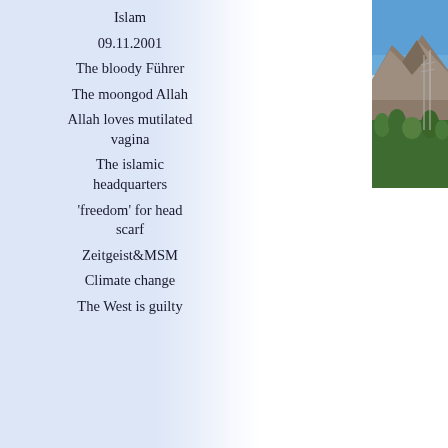Islam
09.11.2001
The bloody Führer
The moongod Allah
Allah loves mutilated vagina
The islamic headquarters
'freedom' for head scarf
Zeitgeist&MSM
Climate change
The West is guilty
[Figure (photo): Photo of a mountain landscape with blue sky, rocky peaks, and vegetation/trees in the foreground]